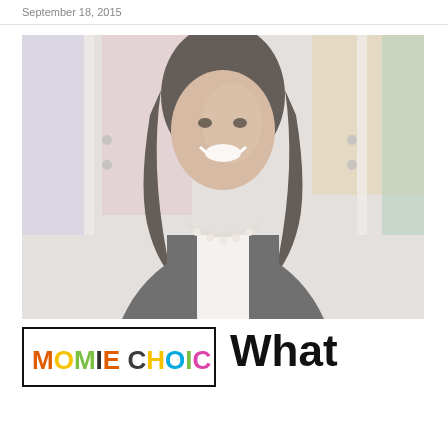September 18, 2015
[Figure (photo): Portrait photo of a smiling woman with dark hair, wearing a dark blazer and pearl necklace, standing in front of colorful painted panels]
[Figure (logo): MomieChoice logo in colorful letters inside a black border rectangle]
What